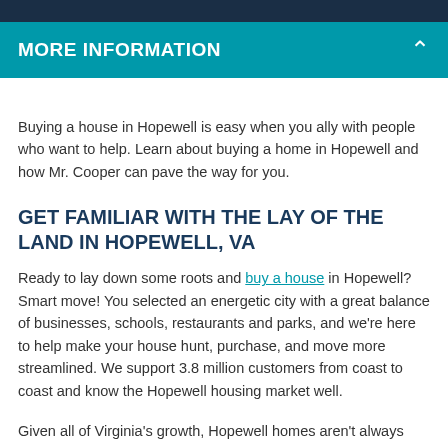MORE INFORMATION
Buying a house in Hopewell is easy when you ally with people who want to help. Learn about buying a home in Hopewell and how Mr. Cooper can pave the way for you.
GET FAMILIAR WITH THE LAY OF THE LAND IN HOPEWELL, VA
Ready to lay down some roots and buy a house in Hopewell? Smart move! You selected an energetic city with a great balance of businesses, schools, restaurants and parks, and we're here to help make your house hunt, purchase, and move more streamlined. We support 3.8 million customers from coast to coast and know the Hopewell housing market well.
Given all of Virginia's growth, Hopewell homes aren't always easy to find at a comfortable price. Sustained economic growth and cultural expansion have helped to entice retirees, new businesses,